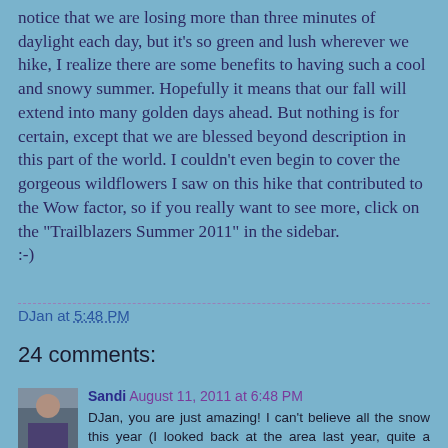notice that we are losing more than three minutes of daylight each day, but it's so green and lush wherever we hike, I realize there are some benefits to having such a cool and snowy summer. Hopefully it means that our fall will extend into many golden days ahead. But nothing is for certain, except that we are blessed beyond description in this part of the world. I couldn't even begin to cover the gorgeous wildflowers I saw on this hike that contributed to the Wow factor, so if you really want to see more, click on the "Trailblazers Summer 2011" in the sidebar.
:-)
DJan at 5:48 PM
24 comments:
Sandi August 11, 2011 at 6:48 PM
DJan, you are just amazing! I can't believe all the snow this year (I looked back at the area last year, quite a difference!) I love that you are out there, hiking away and